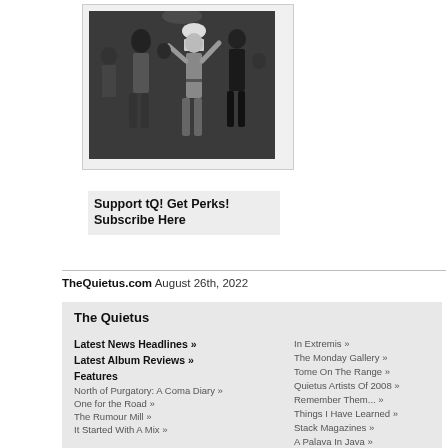[Figure (photo): Black and white photo of people dancing at an event]
Support tQ! Get Perks!
Subscribe Here
TheQuietus.com August 26th, 2022
The Quietus
Latest News Headlines »
Latest Album Reviews »
Features
North of Purgatory: A Coma Diary »
One for the Road »
The Rumour Mill »
It Started With A Mix »
In Extremis »
The Monday Gallery »
Tome On The Range »
Quietus Artists Of 2008 »
Remember Them... »
Things I Have Learned »
Stack Magazines »
A Palava In Java »
Rock's Backpages »